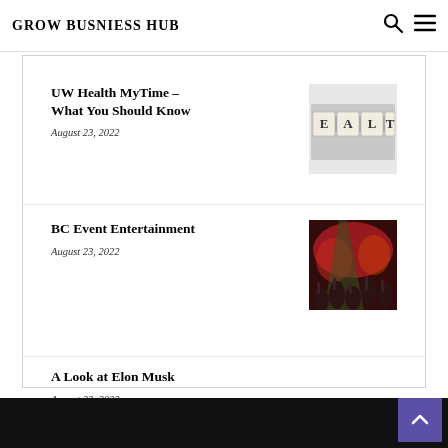GROW BUSNIESS HUB
UW Health MyTime – What You Should Know
August 23, 2022
[Figure (photo): Scrabble tiles spelling HEALTH on a light background]
BC Event Entertainment
August 23, 2022
[Figure (photo): Concert crowd with red and green stage lighting]
A Look at Elon Musk
August 23, 2022